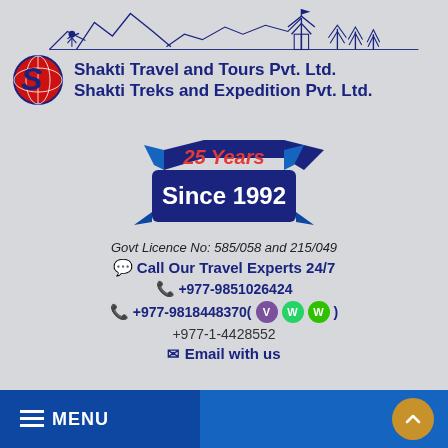[Figure (logo): Shakti Travel and Tours / Shakti Treks and Expedition company logo with mountain skyline illustration, stylized S with globe, and company names in navy blue.]
[Figure (illustration): 25 Years Since 1992 anniversary badge — blue ribbon banner with red italic '25 Years' text on top and white bold 'Since 1992' text on blue ribbon.]
Govt Licence No: 585/058 and 215/049
Call Our Travel Experts 24/7
+977-9851026424
+977-9818448370(Viber WhatsApp WeChat)
+977-1-4428552
Email with us
MENU